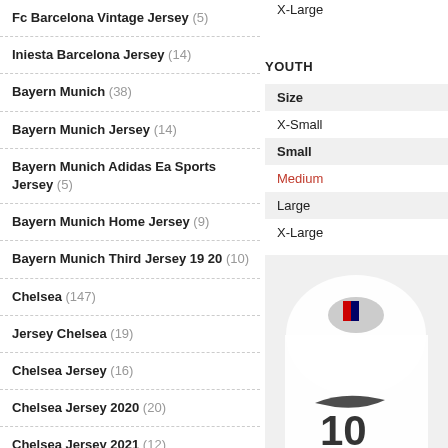Fc Barcelona Vintage Jersey (5)
Iniesta Barcelona Jersey (14)
Bayern Munich (38)
Bayern Munich Jersey (14)
Bayern Munich Adidas Ea Sports Jersey (5)
Bayern Munich Home Jersey (9)
Bayern Munich Third Jersey 19 20 (10)
Chelsea (147)
Jersey Chelsea (19)
Chelsea Jersey (16)
Chelsea Jersey 2020 (20)
Chelsea Jersey 2021 (12)
Chelsea Fc Jersey (20)
Chelsea Fc Goalie Jersey (14)
Chelsea Fc Home Jersey (12)
X-Large
YOUTH
| Size |
| --- |
| X-Small |
| Small |
| Medium |
| Large |
| X-Large |
[Figure (photo): Photo of a white Nike football jersey showing number 10]